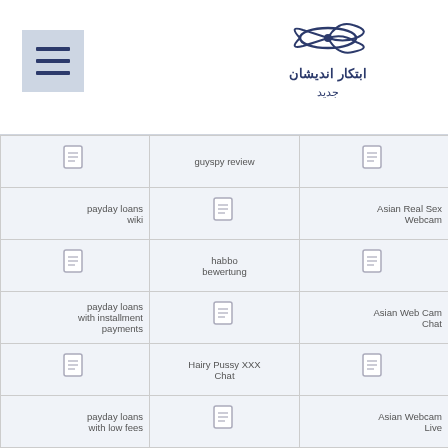Hamburger menu icon and Persian/Arabic logo
| Column 1 | Column 2 | Column 3 |
| --- | --- | --- |
| [icon] | guyspy review | [icon] |
| payday loans wiki | [icon] | Asian Real Sex Webcam |
| [icon] | habbo bewertung | [icon] |
| payday loans with installment payments | [icon] | Asian Web Cam Chat |
| [icon] | Hairy Pussy XXX Chat | [icon] |
| payday loans with low fees | [icon] | Asian Webcam Live |
| [icon] | happn review | [icon] |
| payday loans with no job | [icon] | AsianDate desktop |
|  | happn reviews |  |